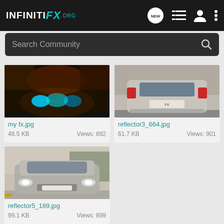INFINITI FX .org — Navigation bar with NEW chat icon, list icon, user icon, more icon
Search Community
[Figure (photo): Night photo of Infiniti FX car from front with bright headlights, filename: my fx.jpg]
my fx.jpg
48.5 KB   Views: 892
[Figure (photo): Rear view of silver Infiniti FX in parking garage, filename: reflector3_664.jpg]
reflector3_664.jpg
61.7 KB   Views: 901
[Figure (photo): Front view of silver Infiniti FX in daytime parking area, filename: reflector5_189.jpg]
reflector5_189.jpg
99.1 KB   Views: 899